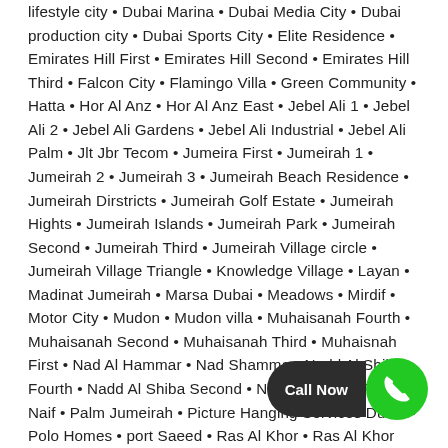lifestyle city • Dubai Marina • Dubai Media City • Dubai production city • Dubai Sports City • Elite Residence • Emirates Hill First • Emirates Hill Second • Emirates Hill Third • Falcon City • Flamingo Villa • Green Community • Hatta • Hor Al Anz • Hor Al Anz East • Jebel Ali 1 • Jebel Ali 2 • Jebel Ali Gardens • Jebel Ali Industrial • Jebel Ali Palm • Jlt Jbr Tecom • Jumeira First • Jumeirah 1 • Jumeirah 2 • Jumeirah 3 • Jumeirah Beach Residence • Jumeirah Dirstricts • Jumeirah Golf Estate • Jumeirah Hights • Jumeirah Islands • Jumeirah Park • Jumeirah Second • Jumeirah Third • Jumeirah Village circle • Jumeirah Village Triangle • Knowledge Village • Layan • Madinat Jumeirah • Marsa Dubai • Meadows • Mirdif • Motor City • Mudon • Mudon villa • Muhaisanah Fourth • Muhaisanah Second • Muhaisanah Third • Muhaisnah First • Nad Al Hammar • Nad Shamma • Nadd Al Shiba Fourth • Nadd Al Shiba Second • Nadd Al Shiba Third • Naif • Palm Jumeirah • Picture Hanging Services Dubai • Polo Homes • port Saeed • Ras Al Khor • Ras Al Khor Industrial First • Ras Al Khor Industrial Second • Ras Al Khor Industrial Third • Rigga Al Buteen • Sheikh Zaid Road • Silicon Osis • Springs • Studio City • Tcom city • The Garden Dubai • The Greens • The Lakes • The Sustainable city • Trade Centre 1 • Trade Centre 2 • Umm • Umm Hurair First • Umm Hurair Second • Umm Ramool • Umm Suqeim First • Umm Suqeim Second • Umm Suqeim Third • Umm Suqiem • Wadi